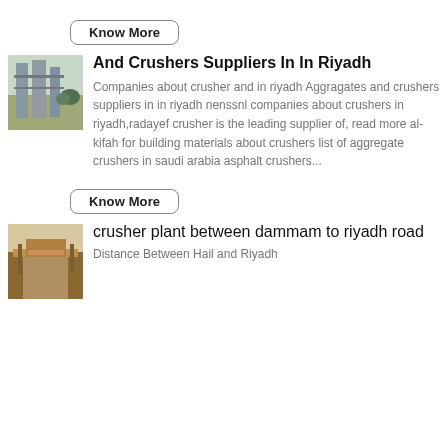Know More
[Figure (photo): Industrial crusher machinery with tall metal silos and pipes]
And Crushers Suppliers In In Riyadh
Companies about crusher and in riyadh Aggragates and crushers suppliers in in riyadh nenssnl companies about crushers in riyadh,radayef crusher is the leading supplier of, read more al-kifah for building materials about crushers list of aggregate crushers in saudi arabia asphalt crushers...
Know More
[Figure (photo): Aerial view of a crusher plant or road construction site between Dammam to Riyadh road]
crusher plant between dammam to riyadh road
Distance Between Hail and Riyadh